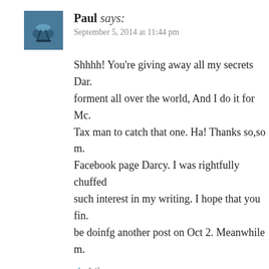Paul says:
September 5, 2014 at 11:44 pm
Shhhh! You're giving away all my secrets Dar. forment all over the world, And I do it for Mc. Tax man to catch that one. Ha! Thanks so,so m. Facebook page Darcy. I was rightfully chuffed such interest in my writing. I hope that you fin. be doinfg another post on Oct 2. Meanwhile m.
Like
Exile on Pain Street says:
September 5, 2014 at 6:45 am
Another great tale. What a fantastic bit of rebellion! I'm. used to such grand displays of lawlessness. I have to ac. the Golden Arches there. I was in Munich and walked o.